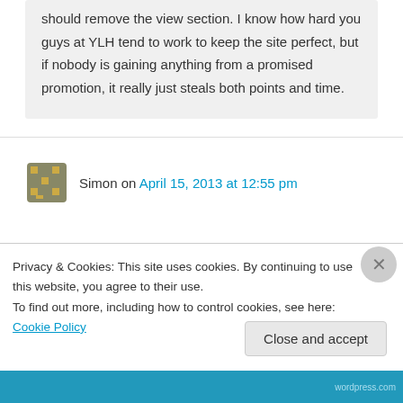only a 2 view gain. maybe you guys should remove the view section. I know how hard you guys at YLH tend to work to keep the site perfect, but if nobody is gaining anything from a promised promotion, it really just steals both points and time.
Simon on April 15, 2013 at 12:55 pm
Privacy & Cookies: This site uses cookies. By continuing to use this website, you agree to their use.
To find out more, including how to control cookies, see here: Cookie Policy